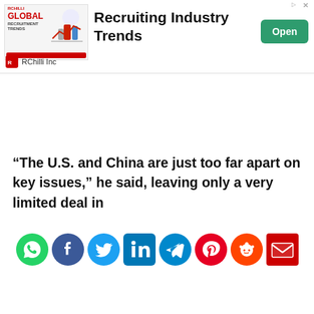[Figure (other): RChilli Global Recruitment Trends ad banner with 'Recruiting Industry Trends' headline, Open button, and RChilli Inc branding]
“The U.S. and China are just too far apart on key issues,” he said, leaving only a very limited deal in
[Figure (other): Row of social media share icons: WhatsApp, Facebook, Twitter, LinkedIn, Telegram, Pinterest, Reddit, Email]